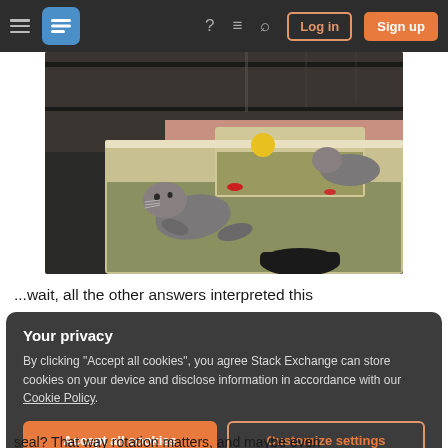Stack Exchange navigation bar with hamburger menu, logo, help, chat, search icons, Log in and Sign up buttons
[Figure (photo): Photograph of a young harbor seal pup resting on the edge of a shallow pool or tank, with another seal visible in the background. A yellow ball floats in the water. The setting appears to be an indoor rehabilitation facility.]
...wait, all the other answers interpreted this
Your privacy
By clicking "Accept all cookies", you agree Stack Exchange can store cookies on your device and disclose information in accordance with our Cookie Policy.
Accept all cookies   Customize settings
seal?  That way rotation matters, and maybe even